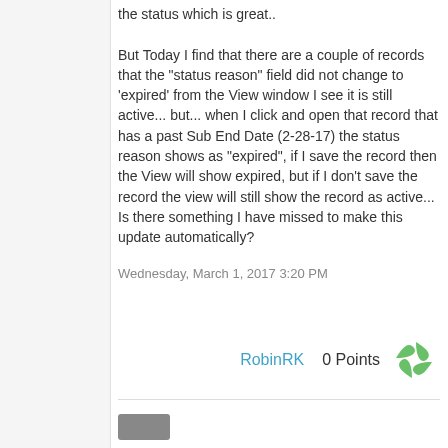the status which is great..

But Today I find that there are a couple of records that the "status reason" field did not change to 'expired' from the View window I see it is still active... but... when I click and open that record that has a past Sub End Date (2-28-17) the status reason shows as "expired", if I save the record then the View will show expired, but if I don't save the record the view will still show the record as active... Is there something I have missed to make this update automatically?
Wednesday, March 1, 2017 3:20 PM
RobinRK   0 Points